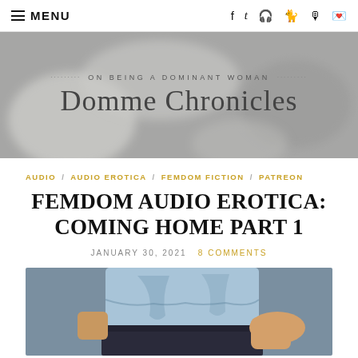≡ MENU
[Figure (illustration): Domme Chronicles blog banner with subtitle 'ON BEING A DOMINANT WOMAN' and large title 'Domme Chronicles' over a grey blurred background photo]
AUDIO / AUDIO EROTICA / FEMDOM FICTION / PATREON
FEMDOM AUDIO EROTICA: COMING HOME PART 1
JANUARY 30, 2021  8 COMMENTS
[Figure (illustration): Illustration of a person wearing a light blue t-shirt and dark pants, cropped at chest and hip level]